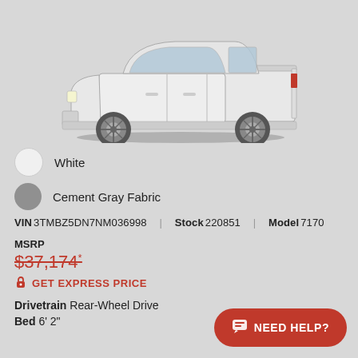[Figure (photo): Side profile view of a white Toyota Tacoma pickup truck on a light gray background]
White
Cement Gray Fabric
VIN 3TMBZ5DN7NM036998  Stock 220851  Model 7170
MSRP
$37,174*
GET EXPRESS PRICE
Drivetrain Rear-Wheel Drive
Bed 6' 2"
NEED HELP?